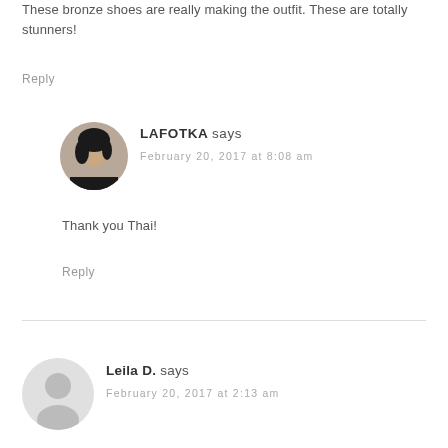These bronze shoes are really making the outfit. These are totally stunners!
Reply
[Figure (photo): Avatar photo of LAFOTKA, a woman with dark hair]
LAFOTKA says
February 20, 2017 at 8:08 am
Thank you Thai!
Reply
[Figure (illustration): Generic gray avatar silhouette for Leila D.]
Leila D. says
February 20, 2017 at 2:13 am